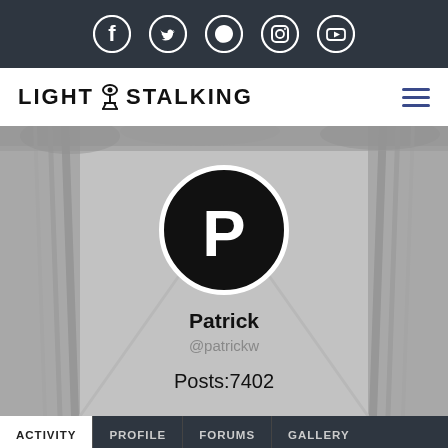[Figure (screenshot): Top navigation bar with social media icons: Facebook, Twitter, Pinterest, Instagram, YouTube on dark background]
[Figure (logo): LightStalking logo with camera on tripod icon between LIGHT and STALKING text, and hamburger menu icon]
[Figure (photo): User profile section with black and white background photo of a corridor/walkway, overlaid with a circular black avatar showing letter P, username Patrick, handle @patrickw, and Posts:7402]
Patrick
@patrickw
Posts:7402
ACTIVITY   PROFILE   FORUMS   GALLERY